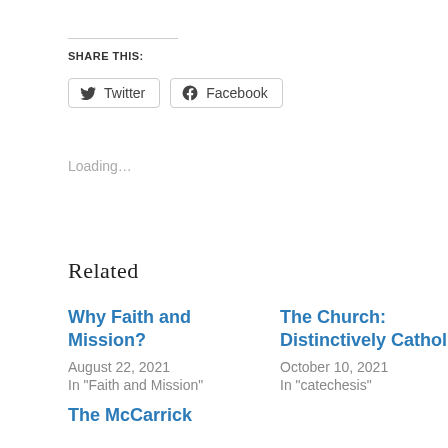Share this:
Twitter   Facebook
Loading…
Related
Why Faith and Mission?
August 22, 2021
In "Faith and Mission"
The Church: Distinctively Catholic
October 10, 2021
In "catechesis"
The McCarrick